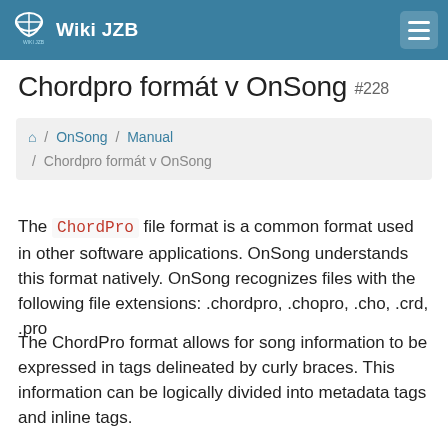Wiki JZB
Chordpro formát v OnSong #228
/ OnSong / Manual / Chordpro formát v OnSong
The ChordPro file format is a common format used in other software applications. OnSong understands this format natively. OnSong recognizes files with the following file extensions: .chordpro, .chopro, .cho, .crd, .pro
The ChordPro format allows for song information to be expressed in tags delineated by curly braces. This information can be logically divided into metadata tags and inline tags.